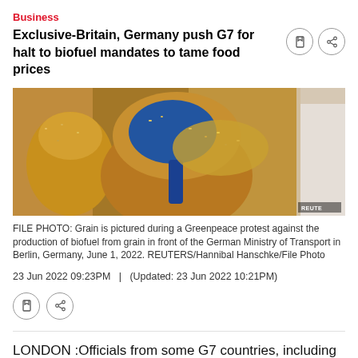Business
Exclusive-Britain, Germany push G7 for halt to biofuel mandates to tame food prices
[Figure (photo): Bags of grain with a blue scoop, photographed during a Greenpeace protest against the production of biofuel from grain in front of the German Ministry of Transport in Berlin, Germany.]
FILE PHOTO: Grain is pictured during a Greenpeace protest against the production of biofuel from grain in front of the German Ministry of Transport in Berlin, Germany, June 1, 2022. REUTERS/Hannibal Hanschke/File Photo
23 Jun 2022 09:23PM  |  (Updated: 23 Jun 2022 10:21PM)
LONDON :Officials from some G7 countries, including